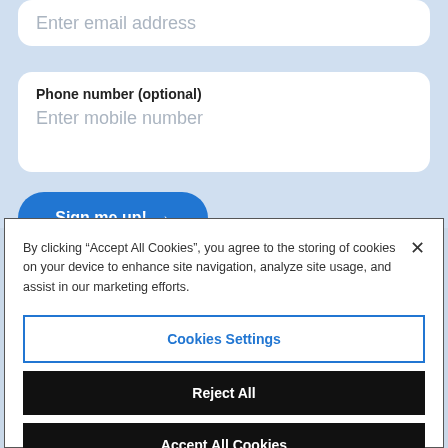[Figure (screenshot): Partially visible web form with email address input field at top (cut off), a Phone number (optional) input field showing placeholder text 'Enter mobile number', and a blue 'Sign me up! →' button]
By clicking "Accept All Cookies", you agree to the storing of cookies on your device to enhance site navigation, analyze site usage, and assist in our marketing efforts.
Cookies Settings
Reject All
Accept All Cookies